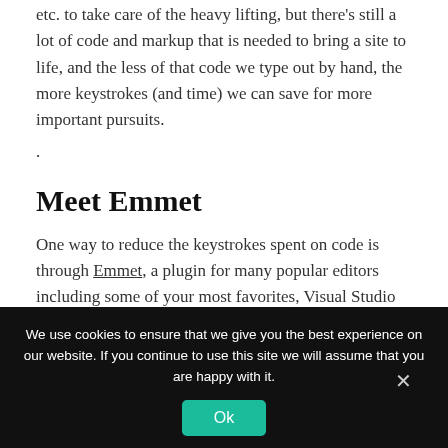etc. to take care of the heavy lifting, but there's still a lot of code and markup that is needed to bring a site to life, and the less of that code we type out by hand, the more keystrokes (and time) we can save for more important pursuits.
.
Meet Emmet
One way to reduce the keystrokes spent on code is through Emmet, a plugin for many popular editors including some of your most favorites, Visual Studio...
We use cookies to ensure that we give you the best experience on our website. If you continue to use this site we will assume that you are happy with it.